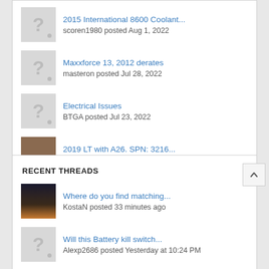2015 International 8600 Coolant... scoren1980 posted Aug 1, 2022
Maxxforce 13, 2012 derates masteron posted Jul 28, 2022
Electrical Issues BTGA posted Jul 23, 2022
2019 LT with A26. SPN: 3216... kemosabi49 posted Jul 16, 2022
gear cover removal on cummins isx justhaulin posted Jul 16, 2022
RECENT THREADS
Where do you find matching... KostaN posted 33 minutes ago
Will this Battery kill switch... Alexp2686 posted Yesterday at 10:24 PM
Central Transport Cleveland hub: ClevelandTrucker216 posted Yesterday